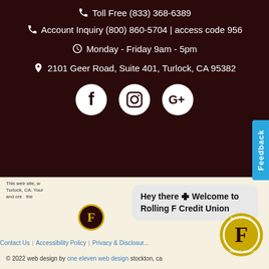Toll Free (833) 368-6389
Account Inquiry (800) 860-5704 | access code 956
Monday - Friday 9am - 5pm
2101 Geer Road, Suite 401, Turlock, CA 95382
[Figure (illustration): Social media icons: Facebook, Instagram, Google+]
Feedback
This web site, w... Turlock, CA. Your ... and cre... the ...ith ...s.
Hey there 🙂 Welcome to Rolling F Credit Union
[Figure (logo): Rolling F Credit Union logo - small]
[Figure (logo): Rolling F Credit Union logo - large]
Contact Us | Accessibility Policy | Privacy & Disclosure
© 2022 web design by one eleven web design stockton, ca